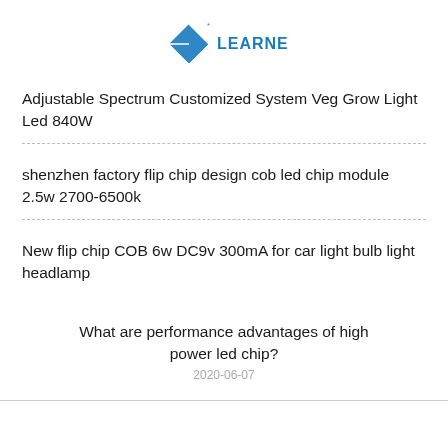LEARNEW
Adjustable Spectrum Customized System Veg Grow Light Led 840W
shenzhen factory flip chip design cob led chip module 2.5w 2700-6500k
New flip chip COB 6w DC9v 300mA for car light bulb light headlamp
What are performance advantages of high power led chip?
2020-06-07